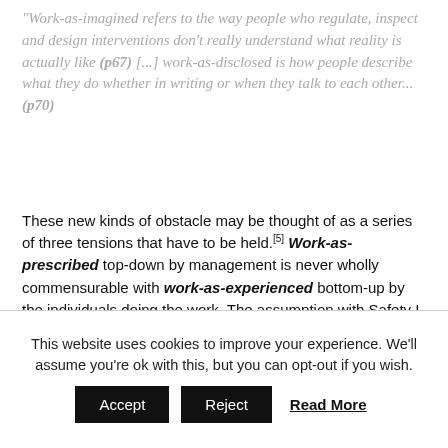“Work-as-imagined refers to the way people who regulate, inspect and design interventions don’t really understand what reality is actually like (p67) [...] work-as-disclosed is how people describe what they do whether in writing or when they talk to each other... (p70)
These new kinds of obstacle may be thought of as a series of three tensions that have to be held.[5] Work-as-prescribed top-down by management is never wholly commensurable with work-as-experienced bottom-up by the individuals doing the work. The assumption with Safety I is that top-down dominates.
This website uses cookies to improve your experience. We’ll assume you’re ok with this, but you can opt-out if you wish.